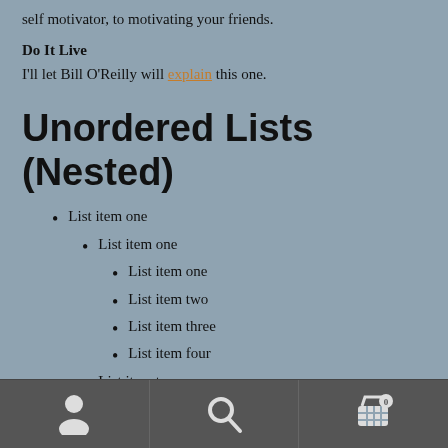self motivator, to motivating your friends.
Do It Live
I'll let Bill O'Reilly will explain this one.
Unordered Lists (Nested)
List item one
List item one
List item one
List item two
List item three
List item four
List item two
Navigation bar with user, search, and cart icons